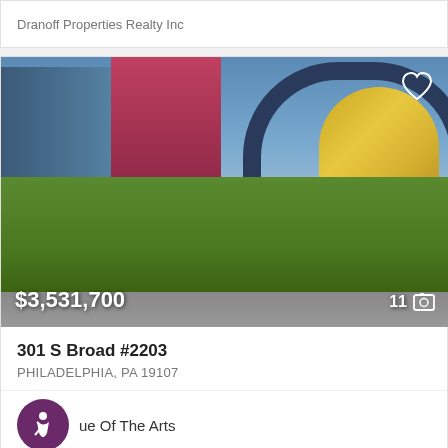Dranoff Properties Realty Inc
[Figure (photo): Aerial/rooftop view of a luxury Philadelphia property showing a green rooftop terrace, modern glass buildings, a red high-rise tower, and a large distinctive arched glass structure (Kimmel Center). Price overlay: $3,531,700. Photo count: 11.]
301 S Broad #2203
PHILADELPHIA, PA 19107
Avenue Of The Arts
3   3F 1 1/2   2,649